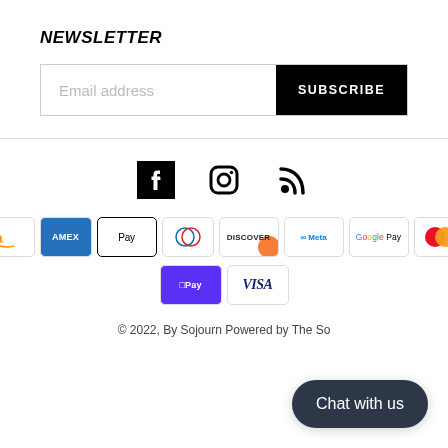NEWSLETTER
[Figure (other): Email subscribe form with text input placeholder 'Email address' and black SUBSCRIBE button]
[Figure (other): Social media icons row: Facebook, Instagram, RSS feed]
[Figure (other): Payment method icons: Amazon, Amex, Apple Pay, Diners Club, Discover, Meta Pay, Google Pay, Mastercard, Shop Pay, Visa]
© 2022, By Sojourn Powered by The So
[Figure (other): Chat with us button overlay]